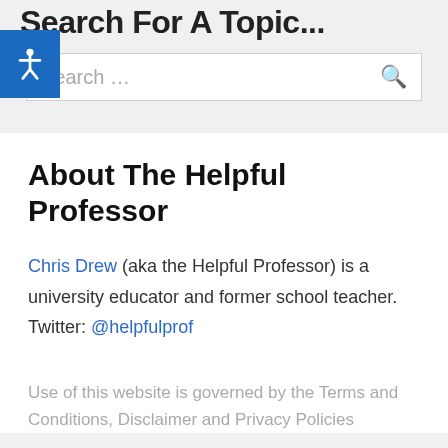Search For A Topic...
[Figure (screenshot): Search input box with placeholder text 'Search ...' and a search icon, with accessibility button overlay]
About The Helpful Professor
Chris Drew (aka the Helpful Professor) is a university educator and former school teacher. Twitter: @helpfulprof
Use of this website is governed by the Terms and Conditions, Disclaimer and Privacy Policies